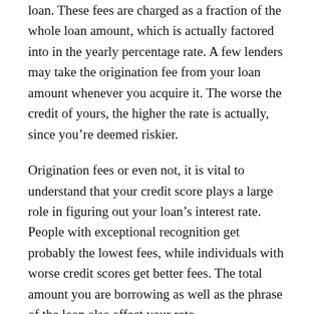loan. These fees are charged as a fraction of the whole loan amount, which is actually factored into in the yearly percentage rate. A few lenders may take the origination fee from your loan amount whenever you acquire it. The worse the credit of yours, the higher the rate is actually, since you’re deemed riskier.
Origination fees or even not, it is vital to understand that your credit score plays a large role in figuring out your loan’s interest rate. People with exceptional recognition get probably the lowest fees, while individuals with worse credit scores get better fees. The total amount you are borrowing as well as the phrase of the loan also affect your rate.
Remember that the higher your interest rate, the greater amount of cash you will pay in fascination fees over the lifetime of the loan. For example, on